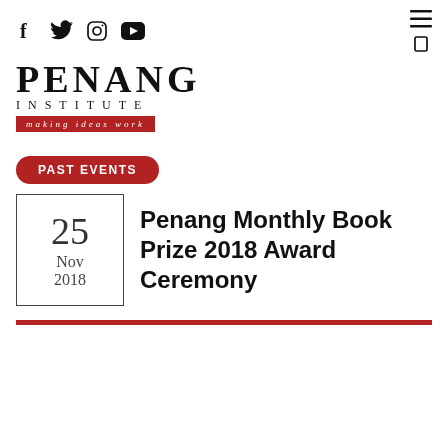Social icons: Facebook, Twitter, Instagram, YouTube
[Figure (logo): Penang Institute logo with tagline 'making ideas work' on red bar]
PAST EVENTS
25 Nov 2018
Penang Monthly Book Prize 2018 Award Ceremony